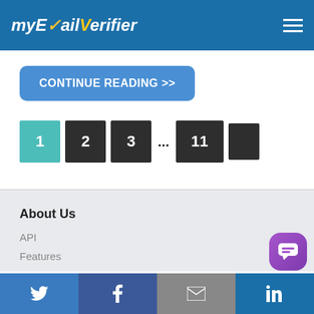myEMailVerifier
CONTINUE READING >>
[Figure (other): Pagination navigation showing pages 1 (active, teal), 2, 3, ellipsis, 11, and a partial next arrow box]
About Us
API
Features
Twitter | Facebook | Email | LinkedIn